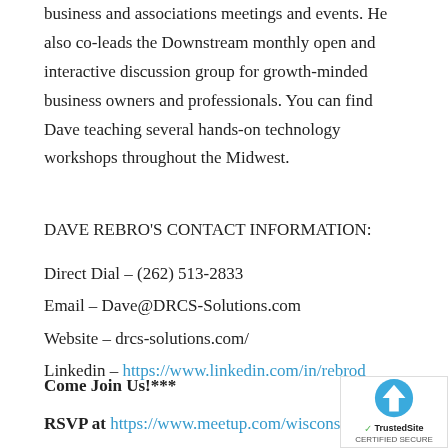business and associations meetings and events. He also co-leads the Downstream monthly open and interactive discussion group for growth-minded business owners and professionals. You can find Dave teaching several hands-on technology workshops throughout the Midwest.
DAVE REBRO'S CONTACT INFORMATION:
Direct Dial – (262) 513-2833
Email – Dave@DRCS-Solutions.com
Website – drcs-solutions.com/
Linkedin – https://www.linkedin.com/in/rebrod
Come Join Us!***
RSVP at https://www.meetup.com/wisconsin-bus
[Figure (logo): TrustedSite Certified Secure badge with blue upload arrow icon]